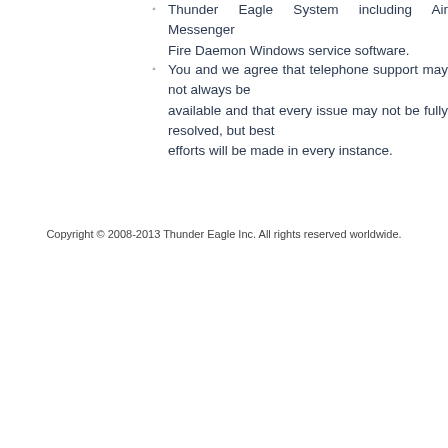Thunder Eagle System including Air Messenger Fire Daemon Windows service software.
You and we agree that telephone support may not always be available and that every issue may not be fully resolved, but best efforts will be made in every instance.
Copyright © 2008-2013 Thunder Eagle Inc. All rights reserved worldwide.